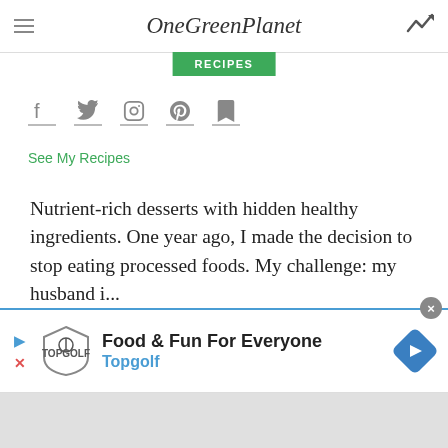OneGreenPlanet
RECIPES
[Figure (infographic): Social media icons row: Facebook, Twitter, Instagram, Pinterest, Bookmark — each with underline bar]
See My Recipes
Nutrient-rich desserts with hidden healthy ingredients. One year ago, I made the decision to stop eating processed foods. My challenge: my husband i...
Load More
[Figure (infographic): Topgolf advertisement banner: Food & Fun For Everyone — Topgolf, with Topgolf shield logo and blue diamond arrow icon]